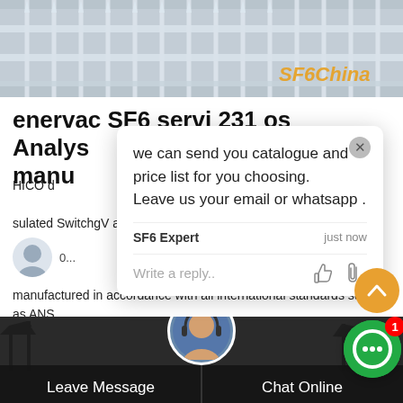[Figure (photo): Header photo of white metal fence/railing structure with SF6China watermark in orange]
enervac SF6 servi 231 os Analysis manu
HICO d... sulated Switchg... V and rated short ci... atalo...
[Figure (screenshot): Chat popup with message: we can send you catalogue and price list for you choosing. Leave us your email or whatsapp. SF6 Expert just now. Write a reply.. with like and attachment icons. Close button X.]
manufactured in accordance with all international standards such as ANS...
[Figure (screenshot): Get Price orange button]
[Figure (screenshot): Bottom section with Leave Message and Chat Online buttons and support avatar]